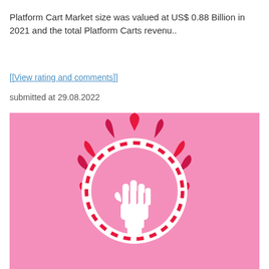Platform Cart Market size was valued at US$ 0.88 Billion in 2021 and the total Platform Carts revenu..
[[View rating and comments]]
submitted at 29.08.2022
[Figure (illustration): Pink background illustration with a red and white logo: a raised fist inside a circular dashed ring, surrounded by flame-like sun rays in red and dark pink.]